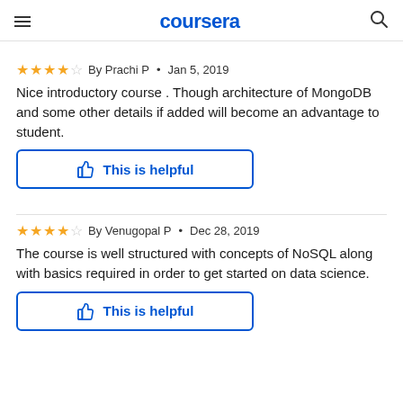coursera
⭐⭐⭐⭐☆ By Prachi P • Jan 5, 2019
Nice introductory course . Though architecture of MongoDB and some other details if added will become an advantage to student.
This is helpful
⭐⭐⭐⭐☆ By Venugopal P • Dec 28, 2019
The course is well structured with concepts of NoSQL along with basics required in order to get started on data science.
This is helpful